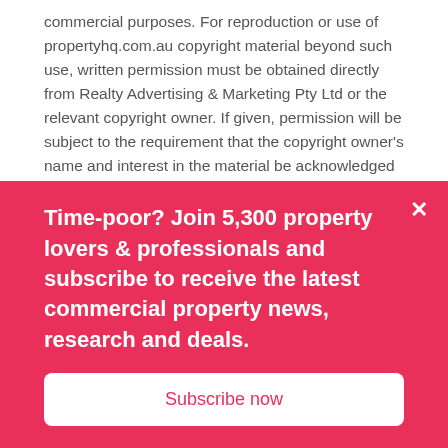commercial purposes. For reproduction or use of propertyhq.com.au copyright material beyond such use, written permission must be obtained directly from Realty Advertising & Marketing Pty Ltd or the relevant copyright owner. If given, permission will be subject to the requirement that the copyright owner's name and interest in the material be acknowledged when the material is reproduced or quoted, in whole or in part.
2.6 Third party links and advertising
(a) Our Website often includes advertisements, hyperlinks and pointers to websites operated by third parties. Those
Time-poor? Join 5,300 property lovers & professionals and subscribe to receive the latest commercial property news, research and deals.
Subscribe now